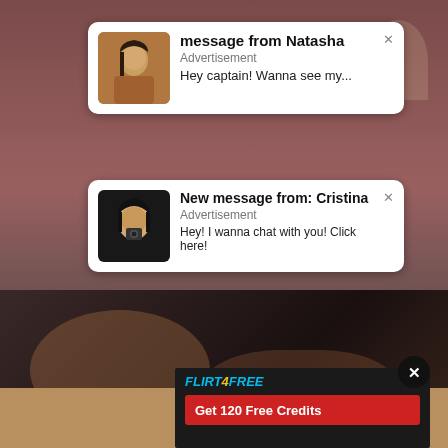[Figure (screenshot): Popup notification card: 'message from Natasha' with thumbnail of woman, subtitle 'Advertisement', message 'Hey captain! Wanna see my...' with X close button]
[Figure (screenshot): Popup notification card: 'New message from: Cristina' with thumbnail of woman taking selfie, subtitle 'Advertisement', message 'Hey! I wanna chat with you! Click here!' with X close button]
[Figure (photo): Video still showing adult content scene on dark background]
FAT AND SASSY SEX SCENE
👁 10   🕐 5:00
[Figure (photo): Second video thumbnail, partially visible, warm toned]
[Figure (screenshot): Flirt4Free advertisement banner with 'Get 120 Free Credits' red button and woman in red dress, close (X) button visible]